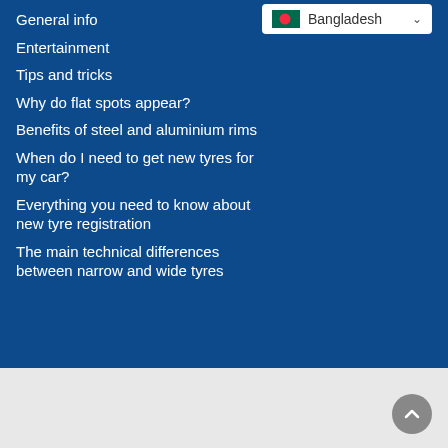General info
Entertainment
Tips and tricks
Why do flat spots appear?
Benefits of steel and aluminium rims
When do I need to get new tyres for my car?
Everything you need to know about new tyre registration
The main technical differences between narrow and wide tyres
Top Tyres
Pirolli P Zero
Tyre brands
Goat